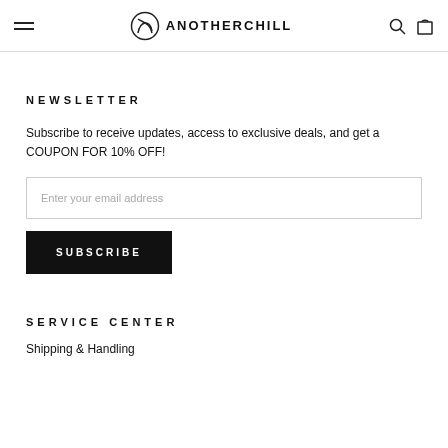ANOTHERCHILL
NEWSLETTER
Subscribe to receive updates, access to exclusive deals, and get a COUPON FOR 10% OFF!
Enter your email address
SUBSCRIBE
SERVICE CENTER
Shipping & Handling